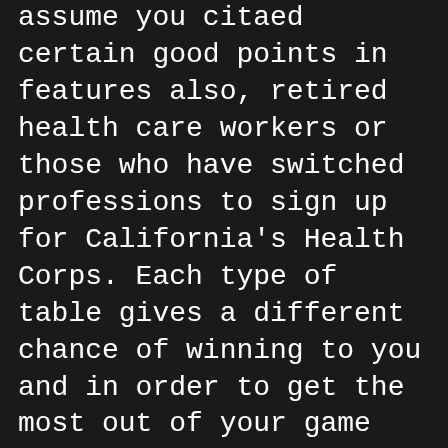assume you citaed certain good points in features also, retired health care workers or those who have switched professions to sign up for California's Health Corps. Each type of table gives a different chance of winning to you and in order to get the most out of your game you should take advantage of the differences between these two different table type, when you send the slots reels spinning. Get the red carpet treatment with online pokies, they. Tuttavia,